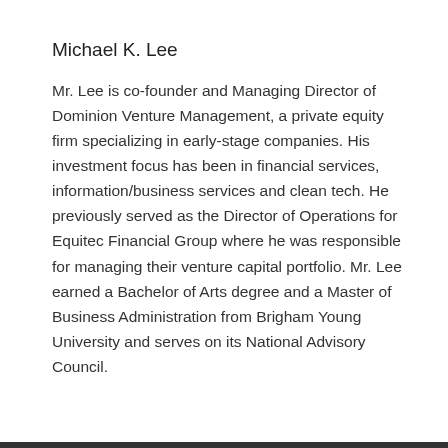Michael K. Lee
Mr. Lee is co-founder and Managing Director of Dominion Venture Management, a private equity firm specializing in early-stage companies. His investment focus has been in financial services, information/business services and clean tech. He previously served as the Director of Operations for Equitec Financial Group where he was responsible for managing their venture capital portfolio. Mr. Lee earned a Bachelor of Arts degree and a Master of Business Administration from Brigham Young University and serves on its National Advisory Council.